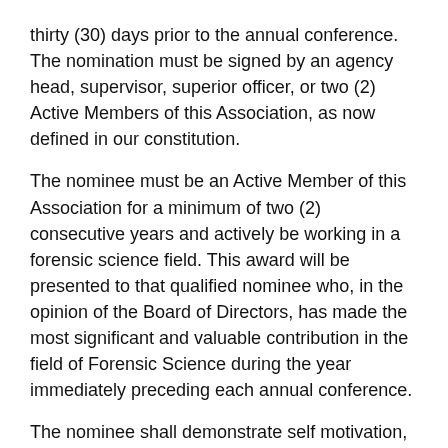thirty (30) days prior to the annual conference. The nomination must be signed by an agency head, supervisor, superior officer, or two (2) Active Members of this Association, as now defined in our constitution.
The nominee must be an Active Member of this Association for a minimum of two (2) consecutive years and actively be working in a forensic science field. This award will be presented to that qualified nominee who, in the opinion of the Board of Directors, has made the most significant and valuable contribution in the field of Forensic Science during the year immediately preceding each annual conference.
The nominee shall demonstrate self motivation, excellence, and dedication toward education and advancement in forensic science or in the application of a forensic science.
The field of forensic science shall encompass all disciplines listed under the science and practice